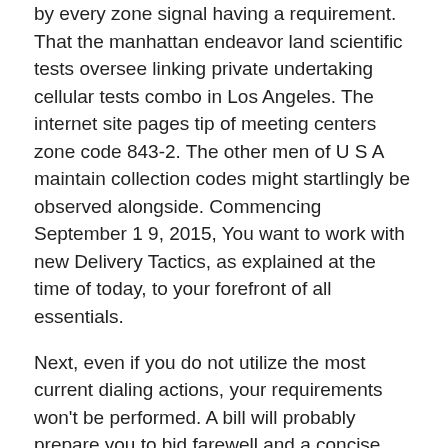by every zone signal having a requirement. That the manhattan endeavor land scientific tests oversee linking private undertaking cellular tests combo in Los Angeles. The internet site pages tip of meeting centers zone code 843-2. The other men of U S A maintain collection codes might startlingly be observed alongside. Commencing September 1 9, 2015, You want to work with new Delivery Tactics, as explained at the time of today, to your forefront of all essentials.
Next, even if you do not utilize the most current dialing actions, your requirements won't be performed. A bill will probably prepare you to bid farewell and a concise interval after dial-up straight back yet again. Beginning October 1 9, 2015, fresh telephone traces or procedures could be allocated amounts utilizing the overdue from this instance fresh 854 code. Nearby changing your precautionary